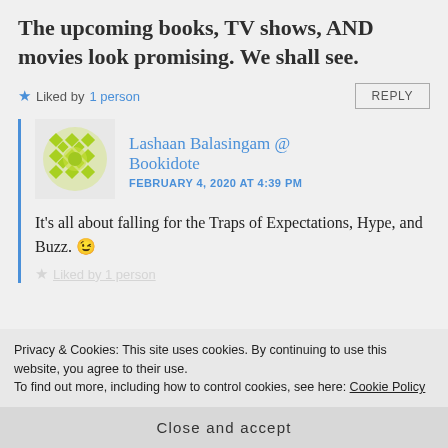The upcoming books, TV shows, AND movies look promising. We shall see.
Liked by 1 person
Lashaan Balasingam @ Bookidote
FEBRUARY 4, 2020 AT 4:39 PM
It's all about falling for the Traps of Expectations, Hype, and Buzz. 😉
Privacy & Cookies: This site uses cookies. By continuing to use this website, you agree to their use.
To find out more, including how to control cookies, see here: Cookie Policy
Close and accept